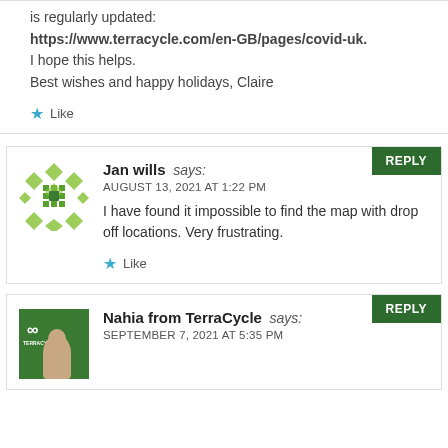is regularly updated:
https://www.terracycle.com/en-GB/pages/covid-uk.
I hope this helps.
Best wishes and happy holidays, Claire
Like
Jan wills says:
AUGUST 13, 2021 AT 1:22 PM
I have found it impossible to find the map with drop off locations. Very frustrating.
Like
Nahia from TerraCycle says:
SEPTEMBER 7, 2021 AT 5:35 PM